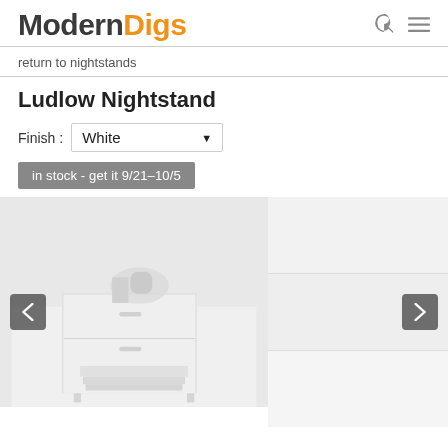Modern Digs
return to nightstands
Ludlow Nightstand
Finish : White
in stock - get it 9/21-10/5
[Figure (photo): Product photo of Ludlow Nightstand in white finish, showing a white modern nightstand with items on top (books, decorative objects) and folded towels/linens on a lower shelf. Carousel navigation arrows on left and right. Thumbnail images on right side.]